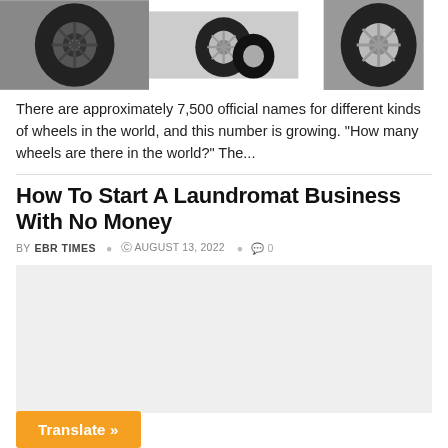[Figure (photo): Three car wheel/tire images side by side at the top of the page]
There are approximately 7,500 official names for different kinds of wheels in the world, and this number is growing. "How many wheels are there in the world?" The...
How To Start A Laundromat Business With No Money
BY EBR TIMES  © AUGUST 13, 2022  ⌂ 0
[Figure (photo): Article featured image placeholder - light gray box]
Translate »